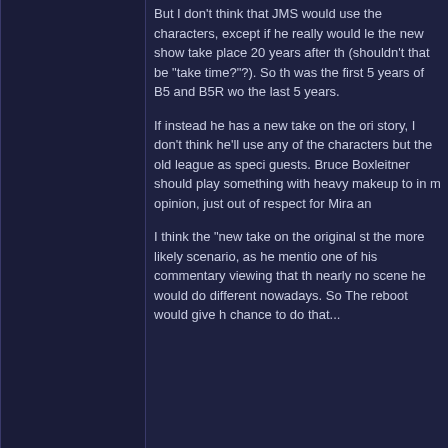But I don't think that JMS would use the characters, except if he really would let the new show take place 20 years after the (shouldn't that be "take time?"?). So the was the first 5 years of B5 and B5R wo the last 5 years.
If instead he has a new take on the original story, I don't think he'll use any of the characters but the old league as special guests. Bruce Boxleitner should play something with heavy makeup to in my opinion, just out of respect for Mira and
I think the "new take on the original sto the more likely scenario, as he mentio one of his commentary viewing that the nearly no scene he would do different nowadays. So The reboot would give h chance to do that...
October 19th 21, 21:11
LateArrival
Commander
Join Date: Oct 2021
Posts: 115
Re: special Guest Star - ...........
Quote:
Originally Posted by Moonface
I for once liked Lyta way more tha